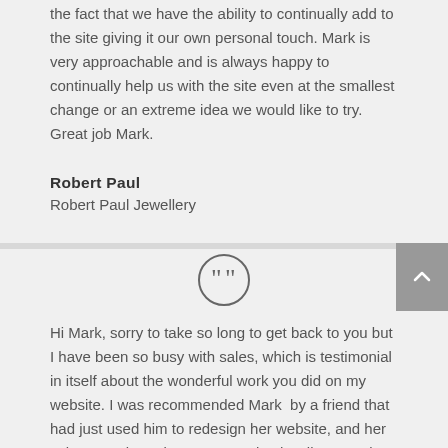the fact that we have the ability to continually add to the site giving it our own personal touch. Mark is very approachable and is always happy to continually help us with the site even at the smallest change or an extreme idea we would like to try. Great job Mark.
Robert Paul
Robert Paul Jewellery
[Figure (illustration): Circular quotation mark icon with double closing quotation marks inside a circle outline]
Hi Mark, sorry to take so long to get back to you but I have been so busy with sales, which is testimonial in itself about the wonderful work you did on my website. I was recommended Mark by a friend that had just used him to redesign her website, and her sales were booming. I was getting hardly any sales